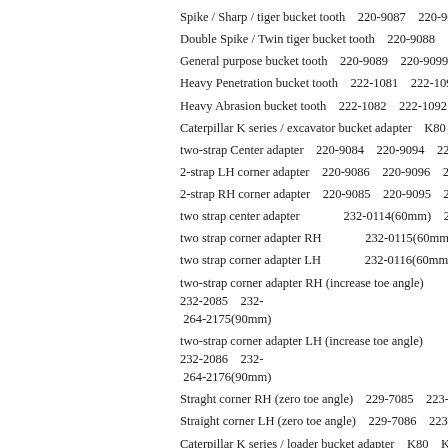Spike / Sharp / tiger bucket tooth    220-9087    220-9097    220-91
Double Spike / Twin tiger bucket tooth    220-9088    309-1098    2
General purpose bucket tooth    220-9089    220-9099    220-9109
Heavy Penetration bucket tooth    222-1081    222-1091    223-810
Heavy Abrasion bucket tooth    222-1082    222-1092    223-8102
Caterpillar K series / excavator bucket adapter    K80    K90    K10
two-strap Center adapter    220-9084    220-9094    220-9104    469
2-strap LH corner adapter    220-9086    220-9096    220-9106    46
2-strap RH corner adapter    220-9085    220-9095    220-9105    46
two strap center adapter              232-0114(60mm)    232-0130(70
two strap corner adapter RH              232-0115(60mm)    232-013
two strap corner adapter LH              232-0116(60mm)    232-013
two-strap corner adapter RH (increase toe angle)    232-2085    232-
 264-2175(90mm)
two-strap corner adapter LH (increase toe angle)    232-2086    232-
 264-2176(90mm)
Straght corner RH (zero toe angle)    229-7085    223-8095    232-0
Straight corner LH (zero toe angle)    229-7086    223-8096    232-
Caterpillar K series / loader bucket adapter    K80    K90    K100